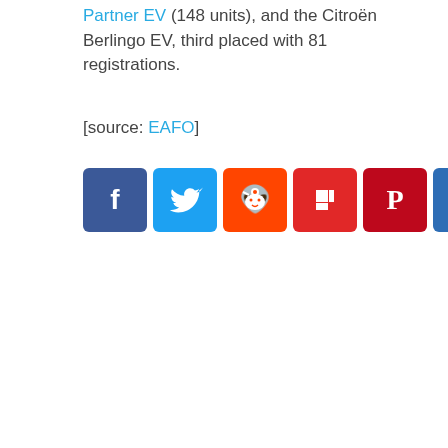Partner EV (148 units), and the Citroën Berlingo EV, third placed with 81 registrations.
[source: EAFO]
[Figure (other): Social share buttons: Facebook, Twitter, Reddit, Flipboard, Pinterest, Email, Share]